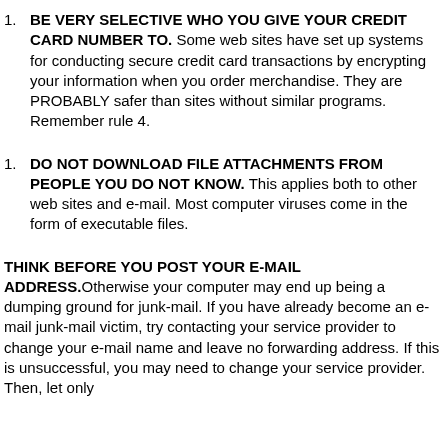BE VERY SELECTIVE WHO YOU GIVE YOUR CREDIT CARD NUMBER TO. Some web sites have set up systems for conducting secure credit card transactions by encrypting your information when you order merchandise. They are PROBABLY safer than sites without similar programs. Remember rule 4.
DO NOT DOWNLOAD FILE ATTACHMENTS FROM PEOPLE YOU DO NOT KNOW. This applies both to other web sites and e-mail. Most computer viruses come in the form of executable files.
THINK BEFORE YOU POST YOUR E-MAIL ADDRESS.Otherwise your computer may end up being a dumping ground for junk-mail. If you have already become an e-mail junk-mail victim, try contacting your service provider to change your e-mail name and leave no forwarding address. If this is unsuccessful, you may need to change your service provider. Then, let only